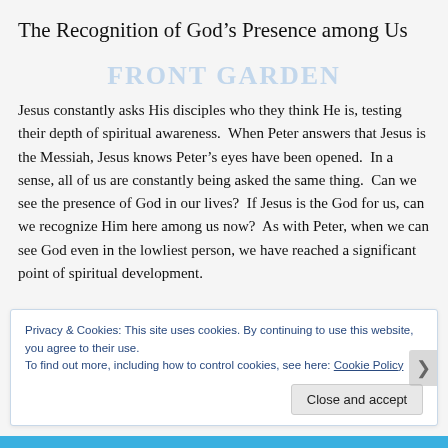The Recognition of God's Presence among Us
Jesus constantly asks His disciples who they think He is, testing their depth of spiritual awareness.  When Peter answers that Jesus is the Messiah, Jesus knows Peter's eyes have been opened.  In a sense, all of us are constantly being asked the same thing.  Can we see the presence of God in our lives?  If Jesus is the God for us, can we recognize Him here among us now?  As with Peter, when we can see God even in the lowliest person, we have reached a significant point of spiritual development.
Privacy & Cookies: This site uses cookies. By continuing to use this website, you agree to their use.
To find out more, including how to control cookies, see here: Cookie Policy